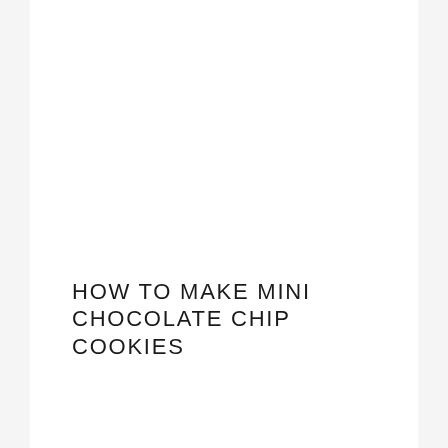HOW TO MAKE MINI CHOCOLATE CHIP COOKIES